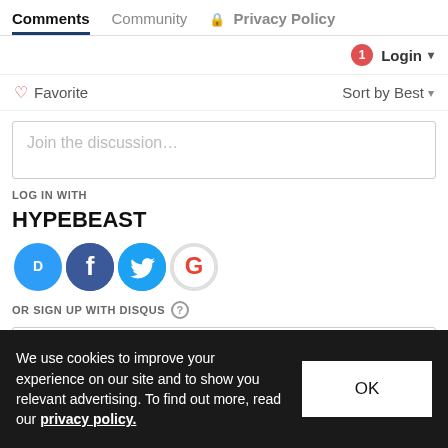Comments   Community   🔒 Privacy Policy
🔔1  Login ▾
♡ Favorite    Sort by Best ▾
Join the discussion...
LOG IN WITH
HYPEBEAST
[Figure (infographic): Social login icons: Disqus (blue circle D), Facebook (dark blue circle F), Twitter (light blue circle bird), Google (red circle G)]
OR SIGN UP WITH DISQUS ?
Name
We use cookies to improve your experience on our site and to show you relevant advertising. To find out more, read our privacy policy.
OK